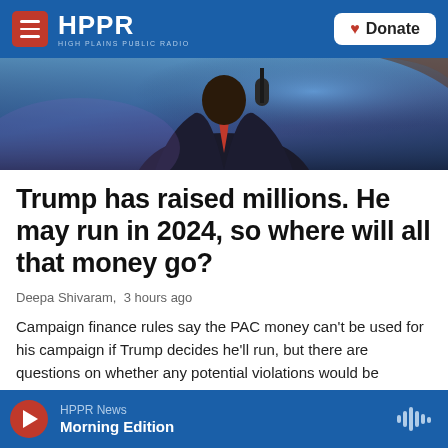HPPR HIGH PLAINS PUBLIC RADIO | Donate
[Figure (photo): Close-up photo of a man in a dark suit and red tie, viewed from behind/side, near a microphone, with blue and purple lighting in background]
Trump has raised millions. He may run in 2024, so where will all that money go?
Deepa Shivaram,  3 hours ago
Campaign finance rules say the PAC money can't be used for his campaign if Trump decides he'll run, but there are questions on whether any potential violations would be enforced by the FEC.
HPPR News  Morning Edition